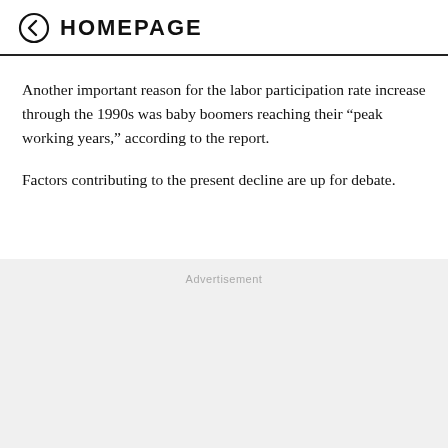HOMEPAGE
Another important reason for the labor participation rate increase through the 1990s was baby boomers reaching their “peak working years,” according to the report.
Factors contributing to the present decline are up for debate.
Advertisement